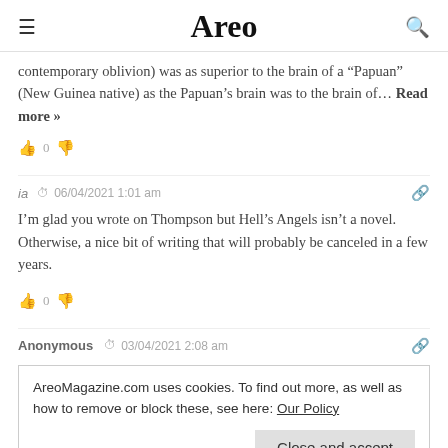Areo
contemporary oblivion) was as superior to the brain of a "Papuan" (New Guinea native) as the Papuan’s brain was to the brain of… Read more »
👍 0 👎
ia  06/04/2021 1:01 am
I’m glad you wrote on Thompson but Hell’s Angels isn’t a novel. Otherwise, a nice bit of writing that will probably be canceled in a few years.
👍 0 👎
Anonymous  03/04/2021 2:08 am
AreoMagazine.com uses cookies. To find out more, as well as how to remove or block these, see here: Our Policy
Close and accept